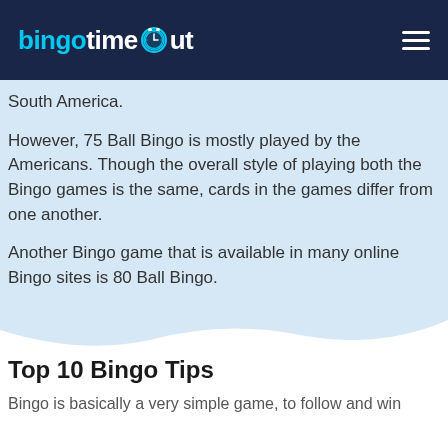bingotimeout
South America.
However, 75 Ball Bingo is mostly played by the Americans. Though the overall style of playing both the Bingo games is the same, cards in the games differ from one another.
Another Bingo game that is available in many online Bingo sites is 80 Ball Bingo.
Top 10 Bingo Tips
Bingo is basically a very simple game, to follow and win